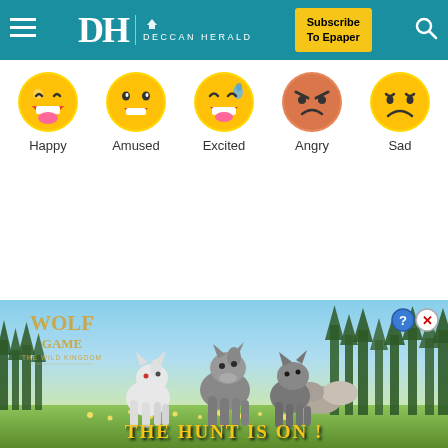Deccan Herald — navigation bar with hamburger menu, DH Deccan Herald logo, Subscribe To Epaper button, search icon
[Figure (infographic): Five emoji reaction faces in a row: Happy (laughing emoji), Amused (smiling emoji), Excited (crying laughing emoji), Angry (angry/frowning orange emoji), Sad (frowning sad emoji)]
Happy   Amused   Excited   Angry   Sad
[Figure (photo): Advertisement banner for Wolf Game: The Wild Kingdom mobile game. Shows three wolves (one white, two grey) in a forest meadow scene with pine trees and blue sky. Text reads 'WOLF GAME THE WILD KINGDOM' and 'THE HUNT IS ON !']